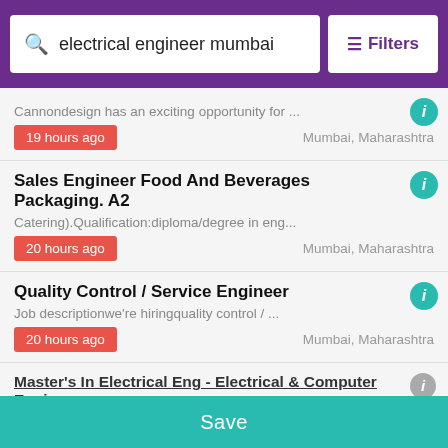electrical engineer mumbai | Filters
Cannondesign has an exciting opportunity for ...
19 hours ago   Mumbai, Maharashtra
Sales Engineer Food And Beverages Packaging. A2
Catering).Qualification:diploma/degree in eng...
20 hours ago   Mumbai, Maharashtra
Quality Control / Service Engineer
Job descriptionwe're hiringquality control / ...
20 hours ago   Mumbai, Maharashtra
Master's In Electrical Eng - Electrical & Computer Engineer
Save